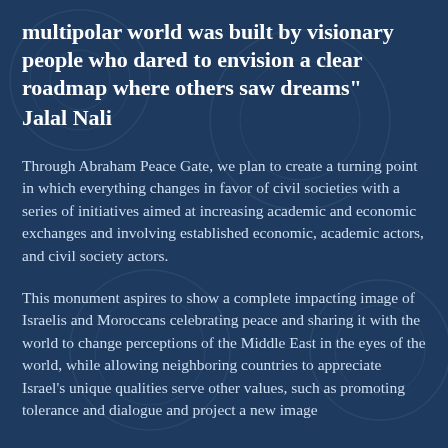multipolar world was built by visionary people who dared to envision a clear roadmap where others saw dreams"
Jalal Nali
Through Abraham Peace Gate, we plan to create a turning point in which everything changes in favor of civil societies with a series of initiatives aimed at increasing academic and economic exchanges and involving established economic, academic actors, and civil society actors.
This monument aspires to show a complete impacting image of Israelis and Moroccans celebrating peace and sharing it with the world to change perceptions of the Middle East in the eyes of the world, while allowing neighboring countries to appreciate Israel's unique qualities serve other values, such as promoting tolerance and dialogue and project a new image